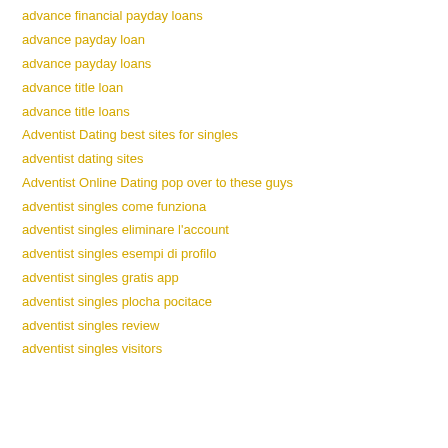advance financial payday loans
advance payday loan
advance payday loans
advance title loan
advance title loans
Adventist Dating best sites for singles
adventist dating sites
Adventist Online Dating pop over to these guys
adventist singles come funziona
adventist singles eliminare l'account
adventist singles esempi di profilo
adventist singles gratis app
adventist singles plocha pocitace
adventist singles review
adventist singles visitors